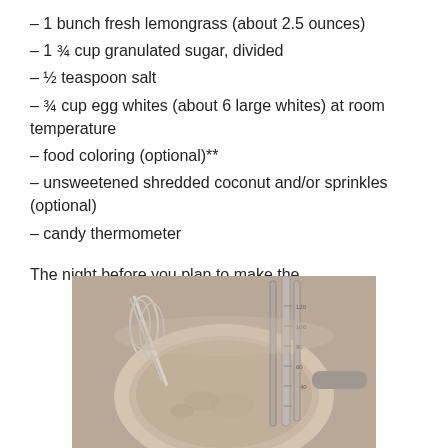– 1 bunch fresh lemongrass (about 2.5 ounces)
– 1 ¾ cup granulated sugar, divided
– ½ teaspoon salt
– ¾ cup egg whites (about 6 large whites) at room temperature
– food coloring (optional)**
– unsweetened shredded coconut and/or sprinkles (optional)
– candy thermometer
The night before you plan to make the
[Figure (photo): A saucepan with a candy thermometer and whisk, containing a liquid mixture, photographed from above.]